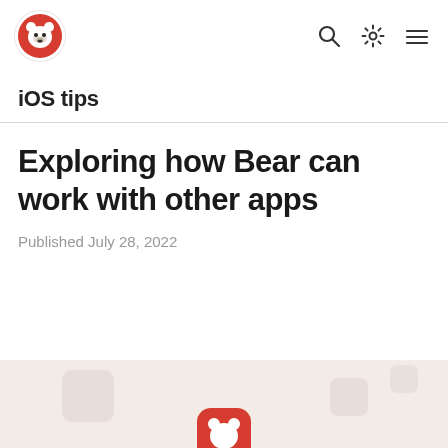Bear app logo and navigation icons (search, settings, menu)
iOS tips
Exploring how Bear can work with other apps
Published July 28, 2022
[Figure (photo): Partial preview of an article hero image showing the Bear app icon on a light peach/beige background with blurred decorative squares]